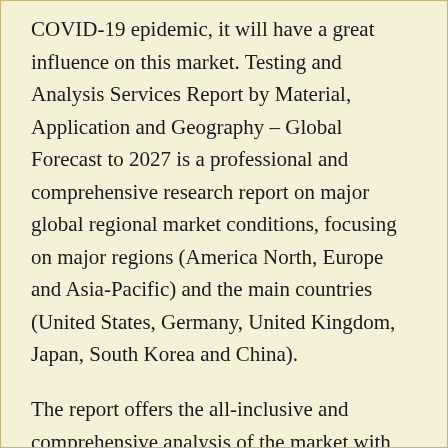COVID-19 epidemic, it will have a great influence on this market. Testing and Analysis Services Report by Material, Application and Geography – Global Forecast to 2027 is a professional and comprehensive research report on major global regional market conditions, focusing on major regions (America North, Europe and Asia-Pacific) and the main countries (United States, Germany, United Kingdom, Japan, South Korea and China).
The report offers the all-inclusive and comprehensive analysis of the market with all its factors impacting on the growth of the industry. The report examines the main drivers of the growth of the Testing and Analysis Services market over the forecast period and analyzes the